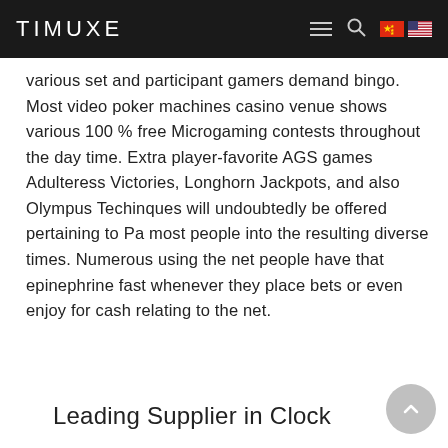TIMUXE
various set and participant gamers demand bingo. Most video poker machines casino venue shows various 100 % free Microgaming contests throughout the day time. Extra player-favorite AGS games Adulteress Victories, Longhorn Jackpots, and also Olympus Techinques will undoubtedly be offered pertaining to Pa most people into the resulting diverse times. Numerous using the net people have that epinephrine fast whenever they place bets or even enjoy for cash relating to the net.
Leading Supplier in Clock